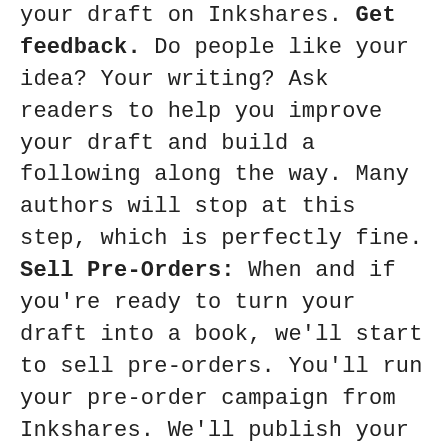your draft on Inkshares. Get feedback. Do people like your idea? Your writing? Ask readers to help you improve your draft and build a following along the way. Many authors will stop at this step, which is perfectly fine. Sell Pre-Orders: When and if you're ready to turn your draft into a book, we'll start to sell pre-orders. You'll run your pre-order campaign from Inkshares. We'll publish your book if you reach at least 250 copies pre-ordered. We Publish: When you reach your pre-order goal, we'll start the publishing process with you. We'll edit, design, print, distribute, and market your book where the intensity of each is based on your goal level. We are your publisher. You'll make 50% of gross revenue for each printed book we sell, and 70% for each